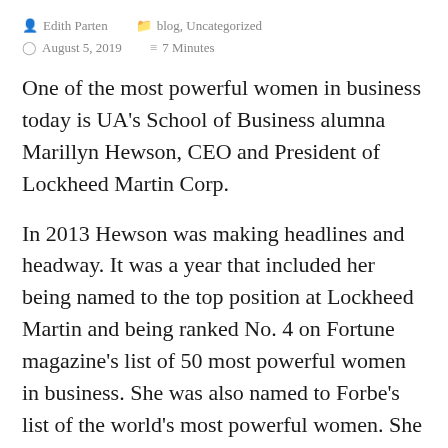Edith Parten   blog, Uncategorized   August 5, 2019   7 Minutes
One of the most powerful women in business today is UA's School of Business alumna Marillyn Hewson, CEO and President of Lockheed Martin Corp.
In 2013 Hewson was making headlines and headway. It was a year that included her being named to the top position at Lockheed Martin and being ranked No. 4 on Fortune magazine's list of 50 most powerful women in business. She was also named to Forbe's list of the world's most powerful women. She was also appointed by President Barack Oba...